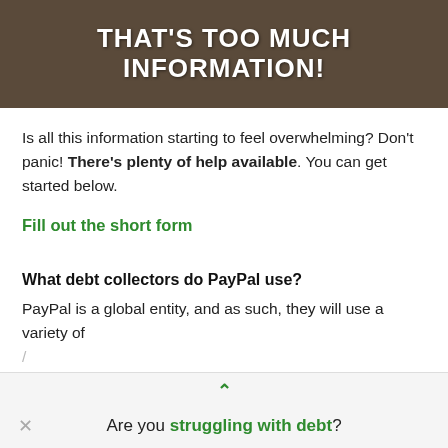[Figure (photo): Dark background meme-style image with bold white text reading 'THAT'S TOO MUCH INFORMATION!']
Is all this information starting to feel overwhelming? Don't panic! There's plenty of help available. You can get started below.
Fill out the short form
What debt collectors do PayPal use?
PayPal is a global entity, and as such, they will use a variety of
Are you struggling with debt?